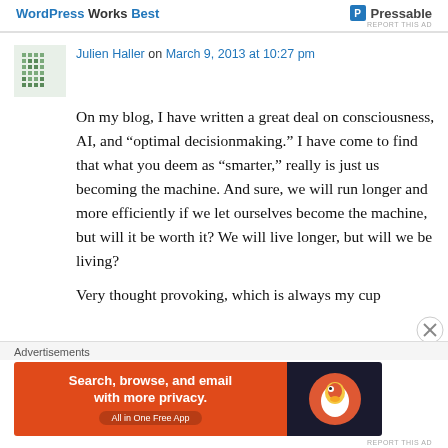WordPress Works Best | Pressable
REPORT THIS AD
Julien Haller on March 9, 2013 at 10:27 pm
On my blog, I have written a great deal on consciousness, AI, and “optimal decisionmaking.” I have come to find that what you deem as “smarter,” really is just us becoming the machine. And sure, we will run longer and more efficiently if we let ourselves become the machine, but will it be worth it? We will live longer, but will we be living?
Very thought provoking, which is always my cup
Advertisements
[Figure (other): DuckDuckGo advertisement banner: Search, browse, and email with more privacy. All in One Free App]
REPORT THIS AD